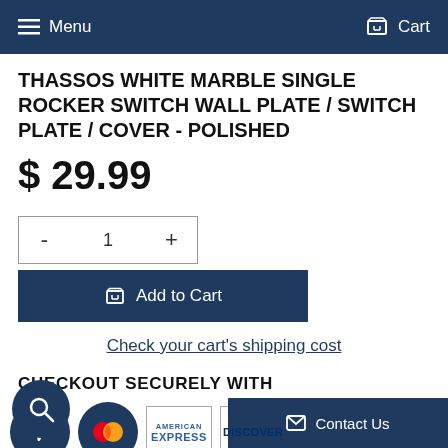Menu   Cart
THASSOS WHITE MARBLE SINGLE ROCKER SWITCH WALL PLATE / SWITCH PLATE / COVER - POLISHED
$ 29.99
- 1 + Add to Cart
Check your cart's shipping cost
CHECKOUT SECURELY WITH
[Figure (logo): Payment method logos: Visa, Mastercard, American Express, Discover, PayPal, Amazon Pay]